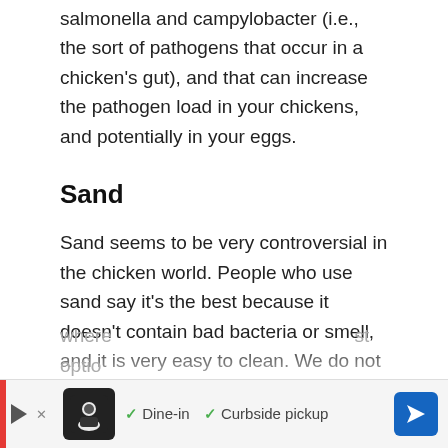salmonella and campylobacter (i.e., the sort of pathogens that occur in a chicken's gut), and that can increase the pathogen load in your chickens, and potentially in your eggs.
Sand
Sand seems to be very controversial in the chicken world. People who use sand say it's the best because it doesn't contain bad bacteria or smell, and it is very easy to clean. We do not personally use sand because I am concerned about the smell factor, and also because it seems a little bit like kitty litter to me, where you are constantly having to lift stuff up. It's extremely humid where … st optio…